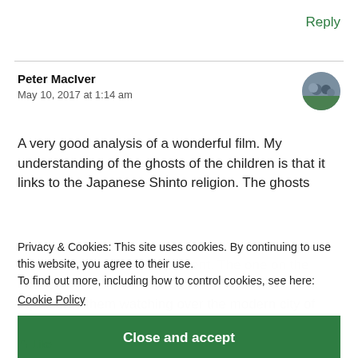Reply
Peter MacIver
May 10, 2017 at 1:14 am
A very good analysis of a wonderful film. My understanding of the ghosts of the children is that it links to the Japanese Shinto religion. The ghosts re... ...ess their own life as we... also control over the present. The one on the house represents them watching over the modern city of K...
Privacy & Cookies: This site uses cookies. By continuing to use this website, you agree to their use.
To find out more, including how to control cookies, see here:
Cookie Policy
Close and accept